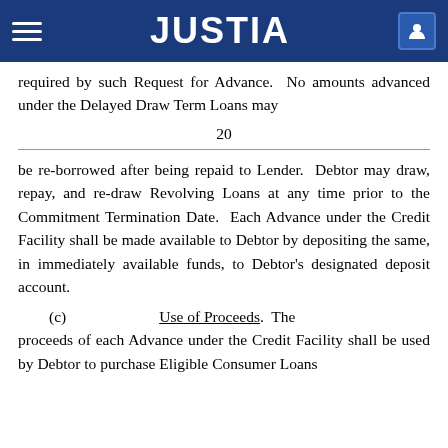JUSTIA
required by such Request for Advance. No amounts advanced under the Delayed Draw Term Loans may
20
be re-borrowed after being repaid to Lender. Debtor may draw, repay, and re-draw Revolving Loans at any time prior to the Commitment Termination Date. Each Advance under the Credit Facility shall be made available to Debtor by depositing the same, in immediately available funds, to Debtor's designated deposit account.
(c) Use of Proceeds. The proceeds of each Advance under the Credit Facility shall be used by Debtor to purchase Eligible Consumer Loans